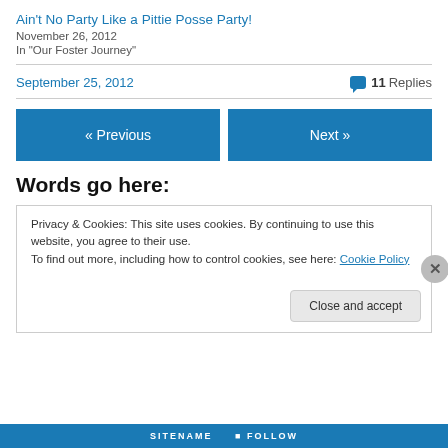Ain't No Party Like a Pittie Posse Party!
November 26, 2012
In "Our Foster Journey"
September 25, 2012
11 Replies
« Previous
Next »
Words go here:
Privacy & Cookies: This site uses cookies. By continuing to use this website, you agree to their use.
To find out more, including how to control cookies, see here: Cookie Policy
Close and accept